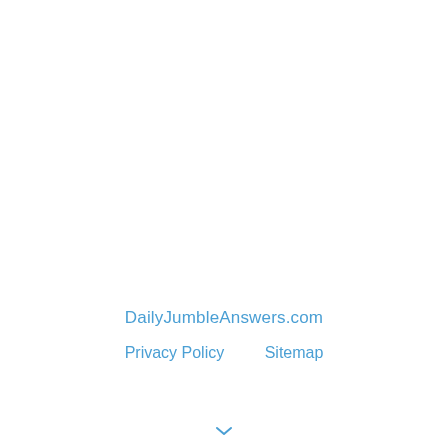DailyJumbleAnswers.com
Privacy Policy   Sitemap